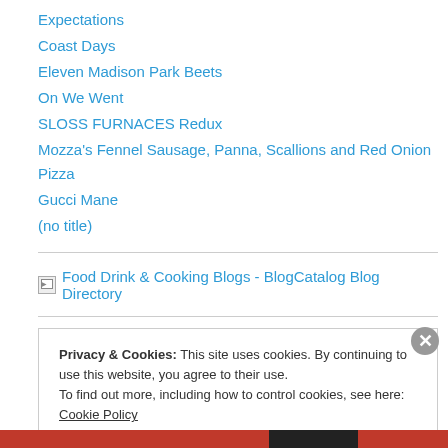Expectations
Coast Days
Eleven Madison Park Beets
On We Went
SLOSS FURNACES Redux
Mozza's Fennel Sausage, Panna, Scallions and Red Onion Pizza
Gucci Mane
(no title)
[Figure (other): Food Drink & Cooking Blogs - BlogCatalog Blog Directory badge/logo link with broken image icon]
Privacy & Cookies: This site uses cookies. By continuing to use this website, you agree to their use.
To find out more, including how to control cookies, see here: Cookie Policy
Close and accept